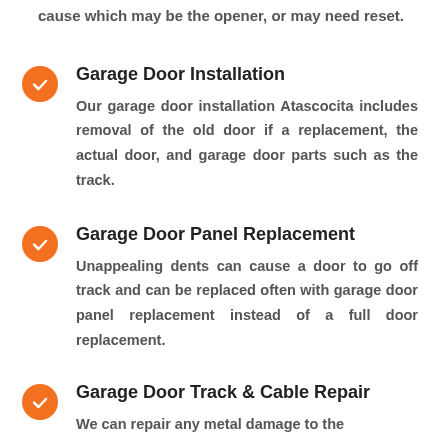cause which may be the opener, or may need reset.
Garage Door Installation
Our garage door installation Atascocita includes removal of the old door if a replacement, the actual door, and garage door parts such as the track.
Garage Door Panel Replacement
Unappealing dents can cause a door to go off track and can be replaced often with garage door panel replacement instead of a full door replacement.
Garage Door Track & Cable Repair
We can repair any metal damage to the